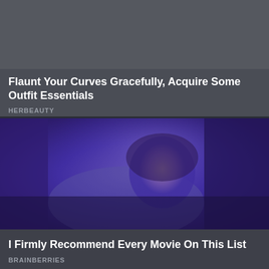[Figure (photo): Dark grey area representing a partially visible image or article thumbnail for a fashion/lifestyle content card]
Flaunt Your Curves Gracefully, Acquire Some Outfit Essentials
HERBEAUTY
[Figure (photo): A horror movie still showing a young woman with blood and dirt on her face, lit by blue/purple lighting, looking terrified]
I Firmly Recommend Every Movie On This List
BRAINBERRIES